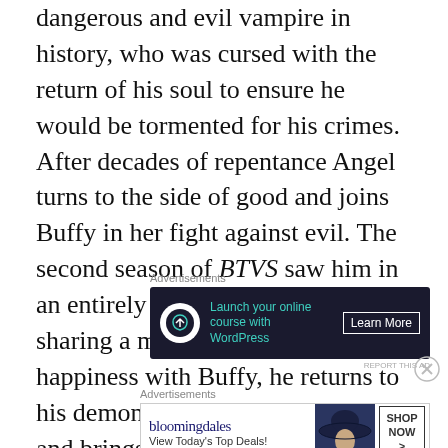dangerous and evil vampire in history, who was cursed with the return of his soul to ensure he would be tormented for his crimes. After decades of repentance Angel turns to the side of good and joins Buffy in her fight against evil. The second season of BTVS saw him in an entirely new light when, after sharing a moment of perfect happiness with Buffy, he returns to his demonic counterpart Angelus and brings death and pain upon the Scoobies. His soul later restored he again battles the apocalypse with Buffy before choosing to leave town.
[Figure (other): Advertisement banner: dark background with Lifter LMS logo icon, green text 'Launch your online course with WordPress' and 'Learn More' button]
[Figure (other): Advertisement banner: Bloomingdale's logo with 'View Today's Top Deals!' text, woman with hat image, and 'SHOP NOW >' button]